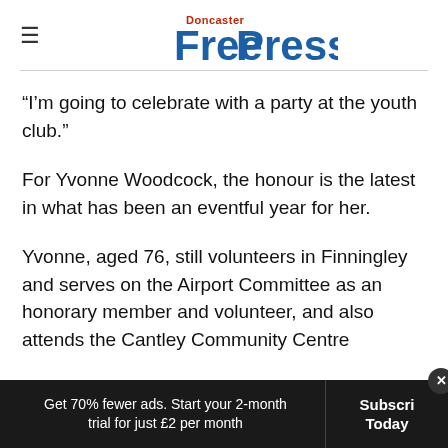Doncaster Free Press
“I’m going to celebrate with a party at the youth club.”
For Yvonne Woodcock, the honour is the latest in what has been an eventful year for her.
Yvonne, aged 76, still volunteers in Finningley and serves on the Airport Committee as an honorary member and volunteer, and also attends the Cantley Community Centre
Get 70% fewer ads. Start your 2-month trial for just £2 per month   Subscribe Today